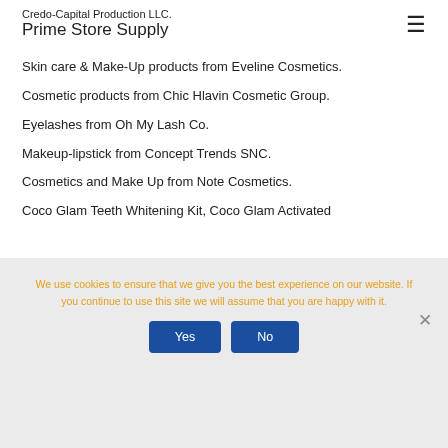Credo-Capital Production LLC.
Prime Store Supply
Skin care & Make-Up products from Eveline Cosmetics.
Cosmetic products from Chic Hlavin Cosmetic Group.
Eyelashes from Oh My Lash Co.
Makeup-lipstick from Concept Trends SNC.
Cosmetics and Make Up from Note Cosmetics.
Coco Glam Teeth Whitening Kit, Coco Glam Activated
We use cookies to ensure that we give you the best experience on our website. If you continue to use this site we will assume that you are happy with it.